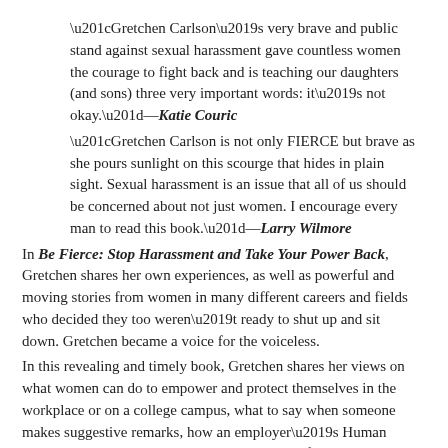“Gretchen Carlson’s very brave and public stand against sexual harassment gave countless women the courage to fight back and is teaching our daughters (and sons) three very important words: it’s not okay.”—Katie Couric
“Gretchen Carlson is not only FIERCE but brave as she pours sunlight on this scourge that hides in plain sight. Sexual harassment is an issue that all of us should be concerned about not just women. I encourage every man to read this book.”—Larry Wilmore
In Be Fierce: Stop Harassment and Take Your Power Back, Gretchen shares her own experiences, as well as powerful and moving stories from women in many different careers and fields who decided they too weren’t ready to shut up and sit down. Gretchen became a voice for the voiceless.
In this revealing and timely book, Gretchen shares her views on what women can do to empower and protect themselves in the workplace or on a college campus, what to say when someone makes suggestive remarks, how an employer’s Human Resources department may not always be your friend, and how forced arbitration clauses in work contracts often serve to protect companies rather than employees. Her groundbreaking message encourages women to stand up and speak